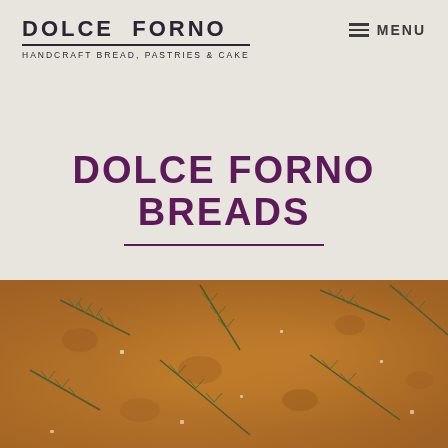DOLCE FORNO — HANDCRAFT BREAD, PASTRIES & CAKE | MENU
DOLCE FORNO BREADS
[Figure (photo): Close-up photograph of focaccia bread topped with fresh rosemary sprigs and coarse sea salt, golden brown crust visible]